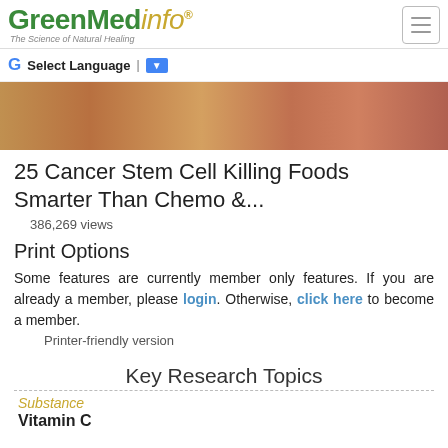GreenMedinfo - The Science of Natural Healing
[Figure (photo): Close-up photo of food items on a wooden surface, showing warm brown tones]
25 Cancer Stem Cell Killing Foods Smarter Than Chemo &...
386,269 views
Print Options
Some features are currently member only features. If you are already a member, please login. Otherwise, click here to become a member.
Printer-friendly version
Key Research Topics
Substance
Vitamin C